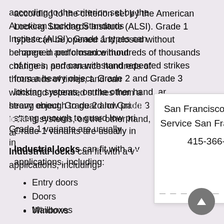according to the criterion set by the American Locking Standards Institute (ALSI). Grade 1 types can be opened and closed without change in performance hundreds of thousands of times, and can withstand repeated strikes from a heavy object. Grade 2 and Grade 3 locking systems, on the other hand, are strong enough to guard low priority items. Grade 1 variants are usually in
San Francisco Locksmith Service San Francisco, CA
415-366-5872
Industrial locks can fit with a variety of applications, including:
Entry doors
Doors
Windows
Mailboxes
Cash boxes
Deposit box
File cabinets
Garage doors